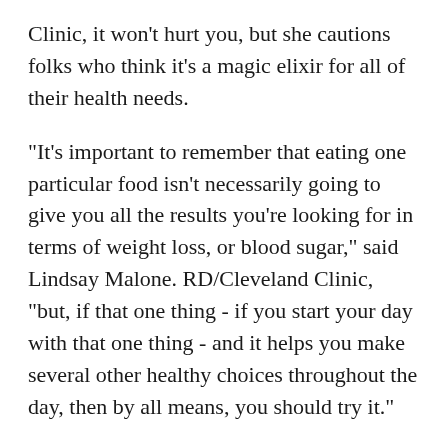Clinic, it won't hurt you, but she cautions folks who think it's a magic elixir for all of their health needs.
"It's important to remember that eating one particular food isn't necessarily going to give you all the results you're looking for in terms of weight loss, or blood sugar," said Lindsay Malone. RD/Cleveland Clinic, "but, if that one thing - if you start your day with that one thing - and it helps you make several other healthy choices throughout the day, then by all means, you should try it."
Malone says there isn't any research that shows drinking celery juice every day will benefit your health. She says most people drink it in the mronig, on an empty stomach. By not eating for an hour or two int he morning, Malone says you are essentially extending